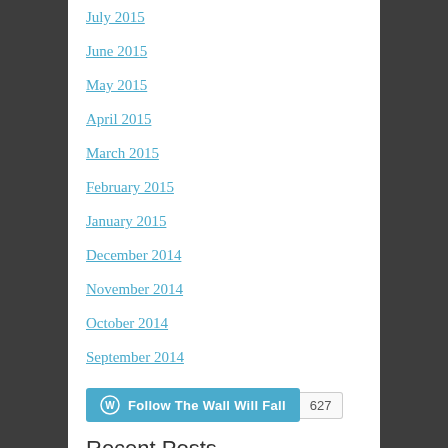July 2015
June 2015
May 2015
April 2015
March 2015
February 2015
January 2015
December 2014
November 2014
October 2014
September 2014
[Figure (other): WordPress Follow button showing 'Follow The Wall Will Fall' with follower count 627]
Recent Posts